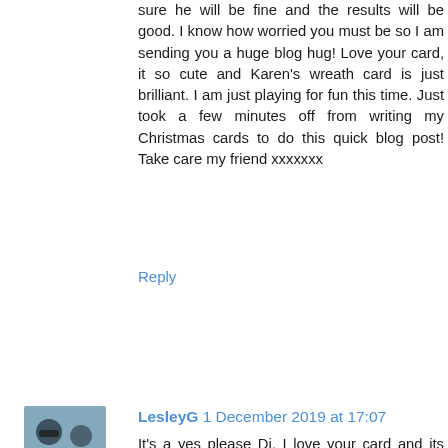sure he will be fine and the results will be good. I know how worried you must be so I am sending you a huge blog hug! Love your card, it so cute and Karen's wreath card is just brilliant. I am just playing for fun this time. Just took a few minutes off from writing my Christmas cards to do this quick blog post! Take care my friend xxxxxxx
Reply
LesleyG 1 December 2019 at 17:07
It's a yes please Di, I love your card and its such a cute prize. I think you should definitely try the drips from the stripes! Keeping everything crossed for Dudley, and I also visited Karen, loved her card and blog, and such another generous prize on offer. Take care xxx
Reply
Carole J 1 December 2019 at 22:17
Hello Di - so sorry to hear about Dudley... poor little chap! I am playing just for fun this time. xx